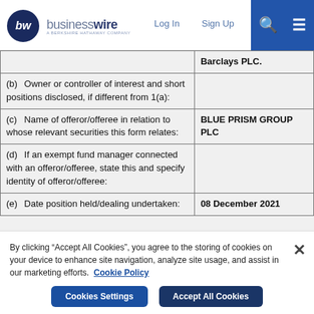businesswire — A BERKSHIRE HATHAWAY COMPANY | Log In | Sign Up
| Field | Value |
| --- | --- |
|  | Barclays PLC. |
| (b) Owner or controller of interest and short positions disclosed, if different from 1(a): |  |
| (c) Name of offeror/offeree in relation to whose relevant securities this form relates: | BLUE PRISM GROUP PLC |
| (d) If an exempt fund manager connected with an offeror/offeree, state this and specify identity of offeror/offeree: |  |
| (e) Date position held/dealing undertaken: | 08 December 2021 |
By clicking "Accept All Cookies", you agree to the storing of cookies on your device to enhance site navigation, analyze site usage, and assist in our marketing efforts. Cookie Policy
Cookies Settings | Accept All Cookies